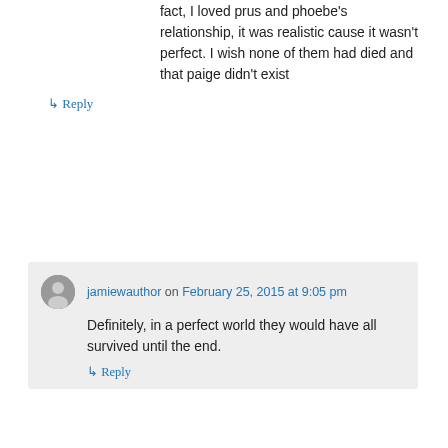fact, I loved prus and phoebe's relationship, it was realistic cause it wasn't perfect. I wish none of them had died and that paige didn't exist
↳ Reply
jamiewauthor on February 25, 2015 at 9:05 pm
Definitely, in a perfect world they would have all survived until the end.
↳ Reply
adamraze on March 14, 2015 at 1:53 am
True, but it would make her the worst big sister in the world to let her baby sister die; remember